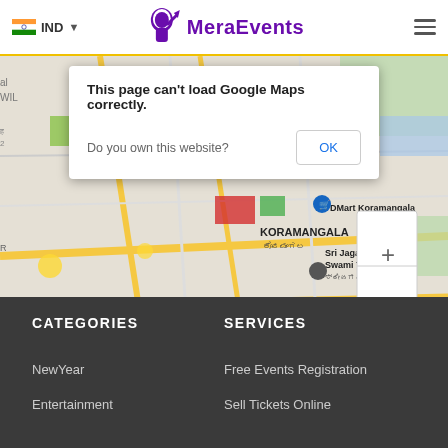IND  MeraEvents
[Figure (screenshot): Google Maps screenshot showing Koramangala area in Bangalore with a Google Maps error dialog overlay saying 'This page can't load Google Maps correctly.' with an OK button, and map showing Sri Jagannatha Swami Temple, DMart Koramangala, HSR Layout. Map footer shows 'Keyboard shortcuts | Map data ©2022 | Terms of Use'. Yellow watermark text 'For development purposes only' overlaid on map.]
CATEGORIES
NewYear
Entertainment
SERVICES
Free Events Registration
Sell Tickets Online